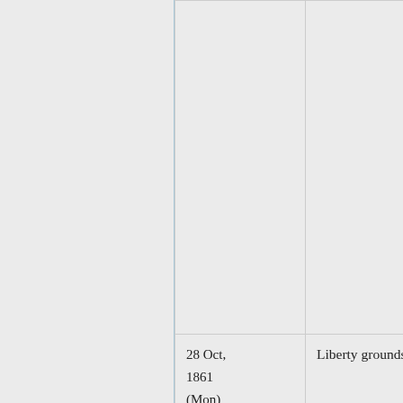| Date | Location | Details |
| --- | --- | --- |
|  |  |  |
| 28 Oct, 1861 (Mon) | Liberty grounds | ... |